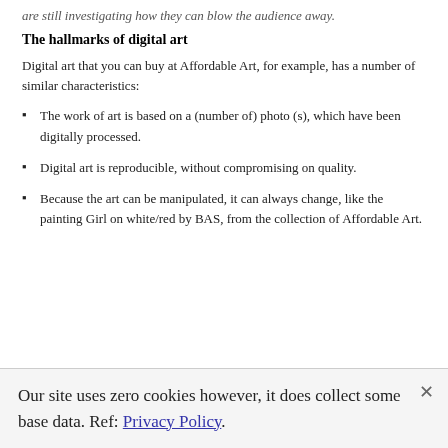are still investigating how they can blow the audience away.
The hallmarks of digital art
Digital art that you can buy at Affordable Art, for example, has a number of similar characteristics:
The work of art is based on a (number of) photo (s), which have been digitally processed.
Digital art is reproducible, without compromising on quality.
Because the art can be manipulated, it can always change, like the painting Girl on white/red by BAS, from the collection of Affordable Art.
Our site uses zero cookies however, it does collect some base data. Ref: Privacy Policy.